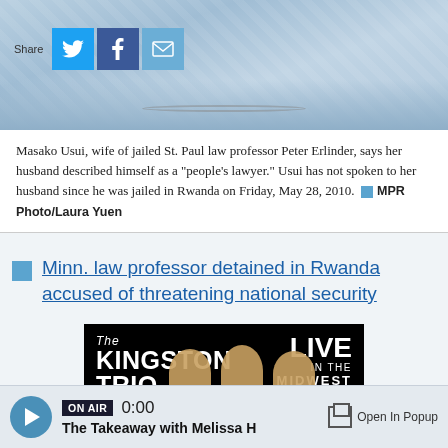[Figure (photo): Photo of Masako Usui with social sharing buttons (Twitter, Facebook, Email) overlaid on top-left. Blue patterned top visible.]
Masako Usui, wife of jailed St. Paul law professor Peter Erlinder, says her husband described himself as a "people's lawyer." Usui has not spoken to her husband since he was jailed in Rwanda on Friday, May 28, 2010. MPR Photo/Laura Yuen
Minn. law professor detained in Rwanda accused of threatening national security
[Figure (illustration): Advertisement banner for 'The Kingston Trio - Live in the Midwest' on black background with teal bar and silhouettes of performers.]
ON AIR 0:00 The Takeaway with Melissa H Open In Popup